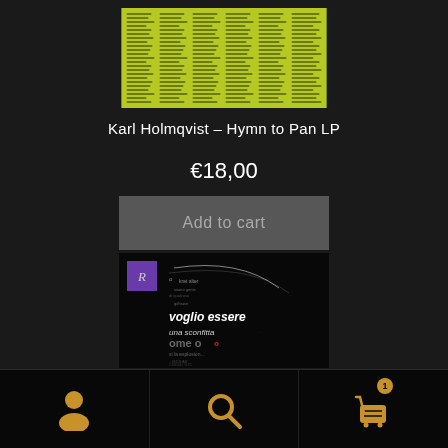[Figure (photo): Album cover thumbnail — lime/yellow-green background with dense columns of small dark text]
Karl Holmqvist – Hymn to Pan LP
€18,00
Add to cart
[Figure (photo): Album cover with purple logo box and Italian text typography design on black background: 'voglio essere', 'una sconfitta', 'ome o']
[Figure (infographic): Bottom navigation bar with three icon sections: user/account icon, search icon, shopping cart icon with badge showing count 1]